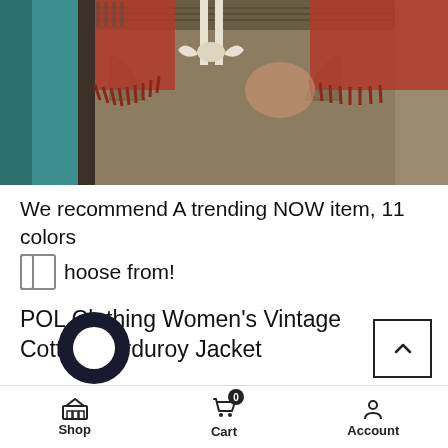[Figure (photo): Product photo showing olive/khaki drawstring shorts with a white tie, worn with a red/rust fringed top. Teal pillar visible on left.]
We recommend A trending NOW item, 11 colors hoose from!
POL Clothing Women's Vintage Cotton Corduroy Jacket
Shop  Cart 0  Account